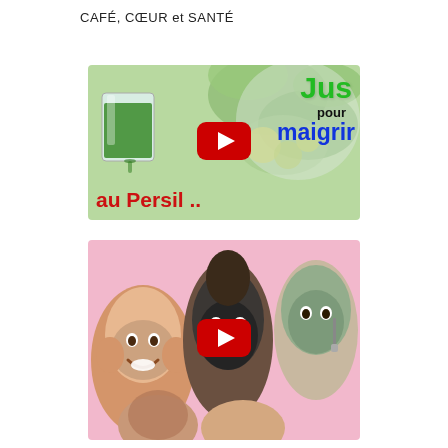CAFÉ, CŒUR et SANTÉ
[Figure (screenshot): YouTube video thumbnail: green juice in a glass with text 'Jus pour maigrir au Persil ..' and a YouTube play button, on a green vegetable background]
[Figure (screenshot): YouTube video thumbnail: women with face masks applied, with a YouTube play button, on a pink background]